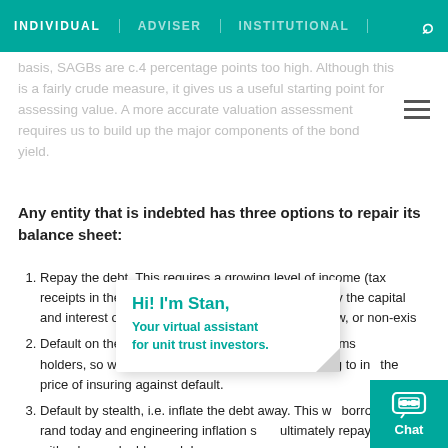INDIVIDUAL | ADVISER | INSTITUTIONAL
basis, SAGBs are c.4 percentage points too high. Although this is a fairly crude measure, it gives us a useful starting point for assessing value. A more accurate valuation assessment requires us to build up the major components of the bond yield.
Any entity that is indebted has three options to repair its balance sheet:
Repay the debt. This requires a growing level of income (tax receipts in the case of sovereign borrowers) to repay the capital and interest outstanding. If income growth is too slow, or non-exis...
Default on the debt – ... ough a 're-negotiation' of terms... holders, so we use credit default swap (CDS) pricing to inc the price of insuring against default.
Default by stealth, i.e. inflate the debt away. This w... borrowing a rand today and engineering inflation s... ultimately repay that debt with a less-valuable rand. In...